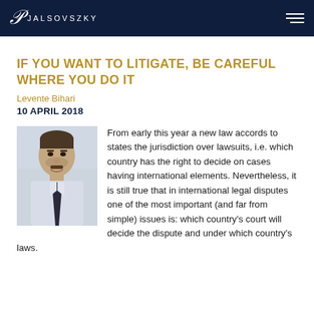JALSOVSZKY
IF YOU WANT TO LITIGATE, BE CAREFUL WHERE YOU DO IT
Levente Bihari
10 APRIL 2018
[Figure (photo): Portrait photo of Levente Bihari, a man in a light shirt and dark tie]
From early this year a new law accords to states the jurisdiction over lawsuits, i.e. which country has the right to decide on cases having international elements. Nevertheless, it is still true that in international legal disputes one of the most important (and far from simple) issues is: which country's court will decide the dispute and under which country's laws.